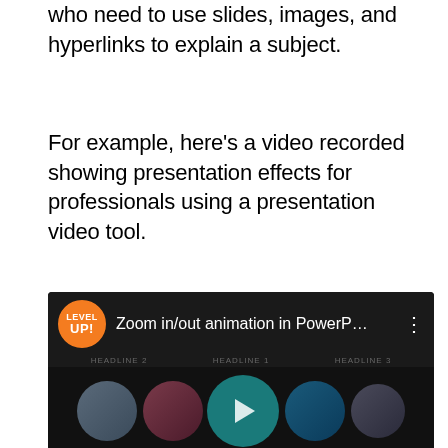who need to use slides, images, and hyperlinks to explain a subject.
For example, here's a video recorded showing presentation effects for professionals using a presentation video tool.
[Figure (screenshot): YouTube video thumbnail showing 'Zoom in/out animation in PowerP...' by Level Up! channel, with circular thumbnails of various presentation slides and a play button in the center.]